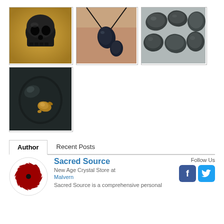[Figure (photo): Dark black stone skull carved from crystal/mineral, sitting on a golden/tan fabric background]
[Figure (photo): Dark blue/black stone pendant necklace worn on a person's neck/chest, with another loose stone nearby]
[Figure (photo): Multiple tumbled dark metallic/silvery-black stones arranged together]
[Figure (photo): Single dark black smooth stone with gold inclusions or markings visible]
Author
Recent Posts
[Figure (logo): Sacred Source logo - dark red circular spiral/swirl design on white background]
Sacred Source
New Age Crystal Store at Malvern
Follow Us
Sacred Source is a comprehensive personal